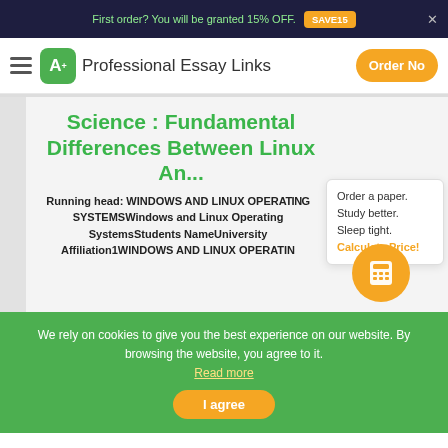First order? You will be granted 15% OFF. SAVE15
Professional Essay Links  Order No
Science : Fundamental Differences Between Linux An...
Running head: WINDOWS AND LINUX OPERATING SYSTEMSWindows and Linux Operating SystemsStudents NameUniversity Affiliation1WINDOWS AND LINUX OPERATIN
Order a paper. Study better. Sleep tight. Calculate Price!
We rely on cookies to give you the best experience on our website. By browsing the website, you agree to it. Read more
I agree